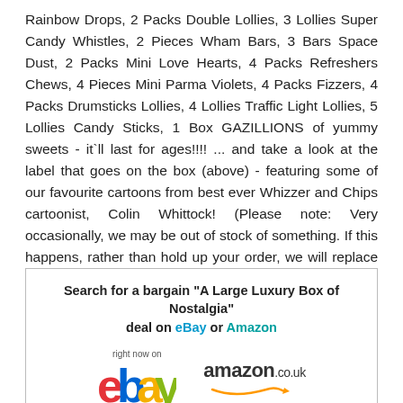Rainbow Drops, 2 Packs Double Lollies, 3 Lollies Super Candy Whistles, 2 Pieces Wham Bars, 3 Bars Space Dust, 2 Packs Mini Love Hearts, 4 Packs Refreshers Chews, 4 Pieces Mini Parma Violets, 4 Packs Fizzers, 4 Packs Drumsticks Lollies, 4 Lollies Traffic Light Lollies, 5 Lollies Candy Sticks, 1 Box GAZILLIONS of yummy sweets - it`ll last for ages!!!! ... and take a look at the label that goes on the box (above) - featuring some of our favourite cartoons from best ever Whizzer and Chips cartoonist, Colin Whittock! (Please note: Very occasionally, we may be out of stock of something. If this happens, rather than hold up your order, we will replace the item with a similar, equally nostalgic item) - Qty In Order: 1 box
Search for a bargain "A Large Luxury Box of Nostalgia" deal on eBay or Amazon